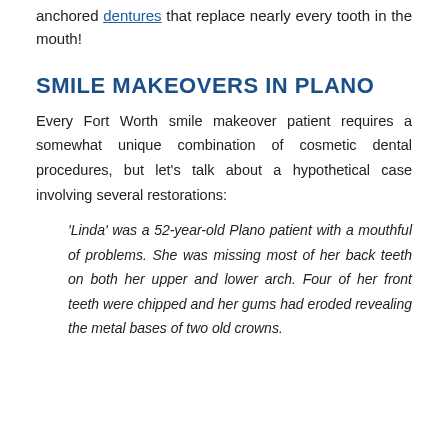anchored dentures that replace nearly every tooth in the mouth!
SMILE MAKEOVERS IN PLANO
Every Fort Worth smile makeover patient requires a somewhat unique combination of cosmetic dental procedures, but let's talk about a hypothetical case involving several restorations:
'Linda' was a 52-year-old Plano patient with a mouthful of problems. She was missing most of her back teeth on both her upper and lower arch. Four of her front teeth were chipped and her gums had eroded revealing the metal bases of two old crowns.